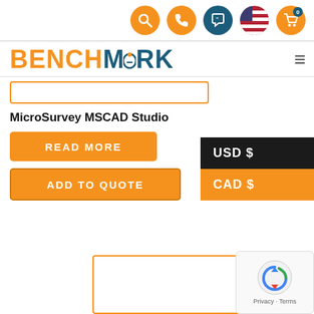[Figure (screenshot): Navigation icon bar with search, phone, quote, US flag, and cart icons]
[Figure (logo): BENCHMARK logo with orange BENCH and teal MARK text, hamburger menu icon]
[Figure (other): Search input box with orange border]
MicroSurvey MSCAD Studio
[Figure (other): USD $ and CAD $ pricing panel buttons]
[Figure (other): READ MORE orange button]
[Figure (other): ADD TO QUOTE orange button]
[Figure (other): Search input box at bottom with orange border]
[Figure (other): reCAPTCHA widget overlay with Privacy and Terms text]